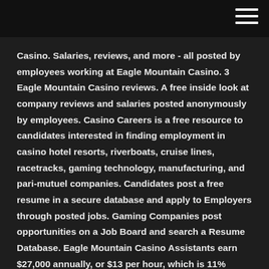Casino. Salaries, reviews, and more - all posted by employees working at Eagle Mountain Casino. 3 Eagle Mountain Casino reviews. A free inside look at company reviews and salaries posted anonymously by employees. Casino Careers is a free resource to candidates interested in finding employment in casino hotel resorts, riverboats, cruise lines, racetracks, gaming technology, manufacturing, and pari-mutuel companies. Candidates post a free resume in a secure database and apply to Employers through posted jobs. Gaming Companies post opportunities on a Job Board and search a Resume Database. Eagle Mountain Casino Assistants earn $27,000 annually, or $13 per hour, which is 11% lower than the national average for all Assistants at $30,000 annually and 84% lower than the